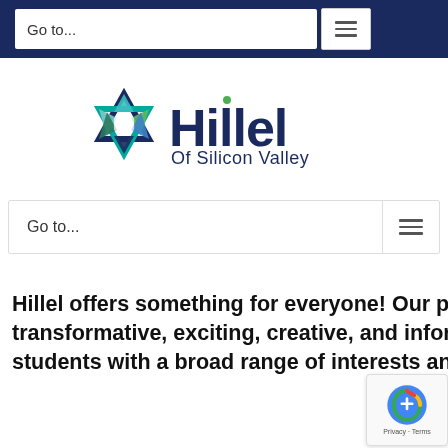Go to...
[Figure (logo): Hillel of Silicon Valley logo — Star of David in blue/teal/green with 'Hillel Of Silicon Valley' text in dark navy]
Go to...
Hillel offers something for everyone!  Our programs are innovative, transformative, exciting, creative, and informative – designed to appeal to diverse students with a broad range of interests and needs.